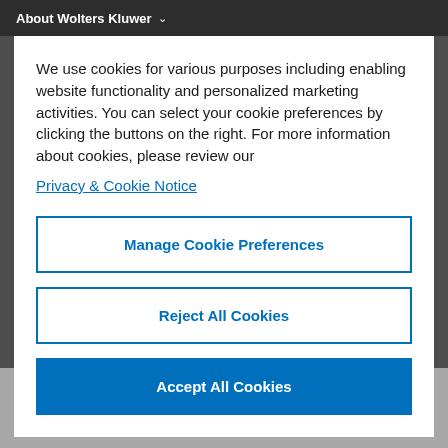About Wolters Kluwer
We use cookies for various purposes including enabling website functionality and personalized marketing activities. You can select your cookie preferences by clicking the buttons on the right. For more information about cookies, please review our Privacy & Cookie Notice
Manage Cookie Preferences
Reject All Cookies
Accept All Cookies
Exam (PE) and board certification exam.
Chapters close with review questions to ensure